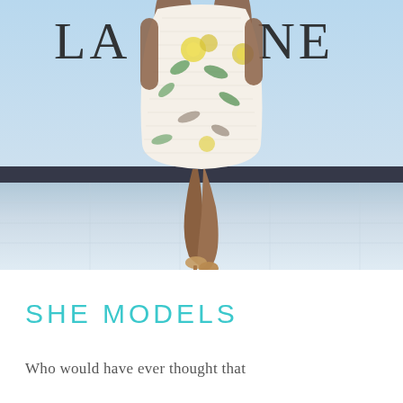[Figure (photo): A plus-size model walking on a fashion runway wearing a white floral dress with yellow and green flowers. A large screen behind her displays partial text 'LA...ONE'. She is walking toward the camera on a light-colored stage floor.]
SHE MODELS
Who would have ever thought that